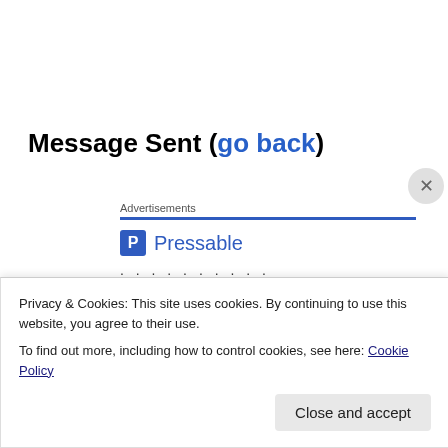Message Sent (go back)
Advertisements
[Figure (logo): Pressable logo with blue P icon and Pressable wordmark]
..........
The Platform
Privacy & Cookies: This site uses cookies. By continuing to use this website, you agree to their use.
To find out more, including how to control cookies, see here: Cookie Policy